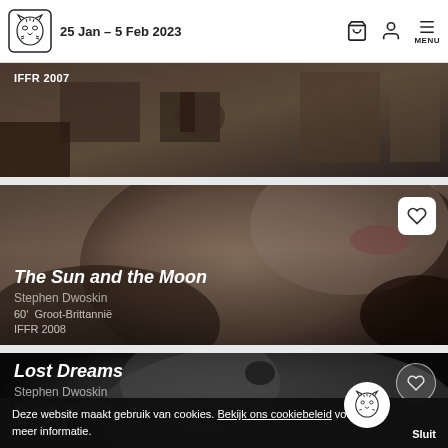25 Jan – 5 Feb 2023
[Figure (screenshot): Partially visible film card showing 'IFFR 2007' label over a dark sepia-toned still image]
[Figure (screenshot): Film card for 'The Sun and the Moon' directed by Stephen Dwoskin. Close-up of human neck/chin in dark tones. Heart/favorite icon visible. Details: 60' Groot-Brittannië, IFFR 2008]
[Figure (screenshot): Film card for 'Lost Dreams' directed by Stephen Dwoskin. Dark moody image. Heart/favorite icon visible. Details: 20' Groot-Brittannië, IFFR 2013]
Deze website maakt gebruik van cookies. Bekijk ons cookiebeleid voor meer informatie. Sluit